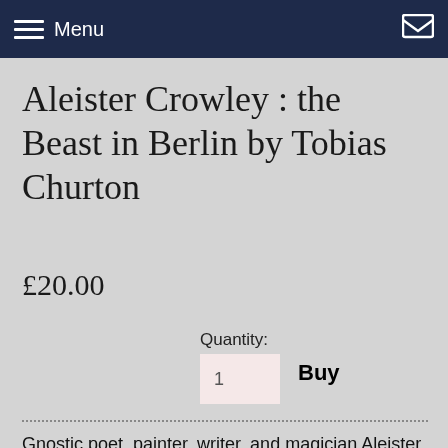Menu
Aleister Crowley : the Beast in Berlin by Tobias Churton
£20.00
Quantity:
Buy
Gnostic poet, painter, writer, and magician Aleister Crowley arrived in Berlin on April 18, 1930. As prophet